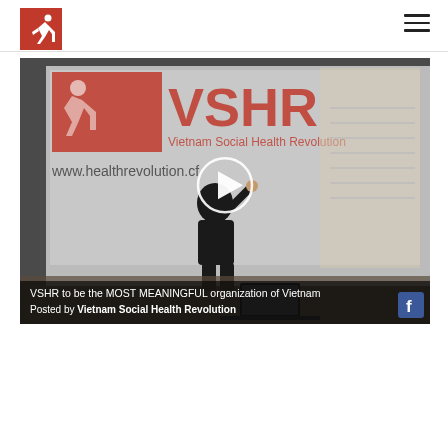VSHR - Vietnam Social Health Revolution
[Figure (screenshot): A video thumbnail screenshot showing a presentation room with a projection screen displaying 'VSHR Vietnam Social Health Revolution www.healthrevolution.cf'. A person is standing and gesturing. A play button circle is overlaid in the center. At the bottom, text reads: 'VSHR to be the MOST MEANINGFUL organization of Vietnam' and 'Posted by Vietnam Social Health Revolution' with a Facebook logo icon in the bottom right.]